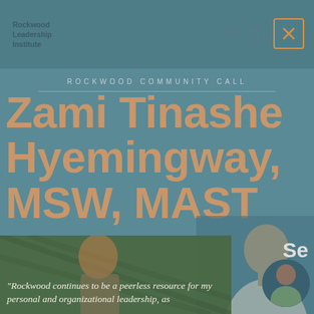Rockwood Leadership Institute
ROCKWOOD COMMUNITY CALL
Zami Tinashe Hyemingway, MSW, MAST
Se
[Figure (photo): Portrait photo of Zami Tinashe Hyemingway overlaid on teal background]
"Rockwood continues to be a peerless resource for my personal and organizational leadership, as
[Figure (photo): Partial photo of a person outdoors in bottom section of page]